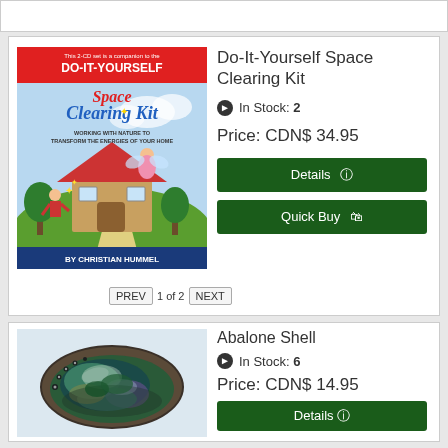[Figure (illustration): Book cover for Do-It-Yourself Space Clearing Kit with colorful illustration of a house, fairy, and nature. Red banner at top with DO-IT-YOURSELF text. By Christian Hummel.]
Do-It-Yourself Space Clearing Kit
In Stock: 2
Price: CDN$ 34.95
Details
Quick Buy
PREV  1 of 2  NEXT
[Figure (photo): Photo of an abalone shell showing iridescent interior with green, purple and silver tones. Oval shape on a light background.]
Abalone Shell
In Stock: 6
Price: CDN$ 14.95
Details